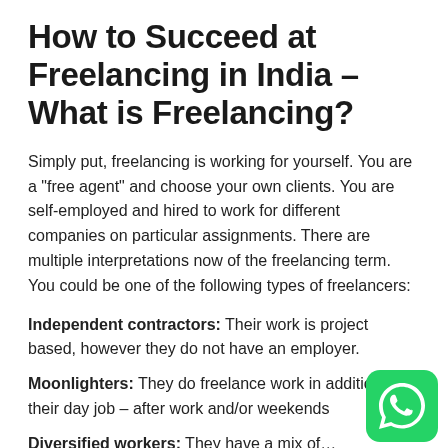How to Succeed at Freelancing in India – What is Freelancing?
Simply put, freelancing is working for yourself. You are a "free agent" and choose your own clients. You are self-employed and hired to work for different companies on particular assignments. There are multiple interpretations now of the freelancing term.  You could be one of the following types of freelancers:
Independent contractors: Their work is project based, however they do not have an employer.
Moonlighters: They do freelance work in addition to their day job – after work and/or weekends
Diversified workers: They have a mix of…